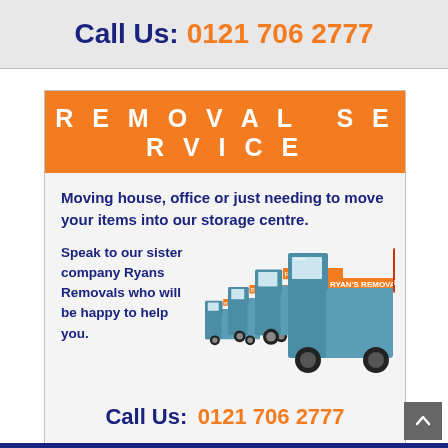Call Us: 0121 706 2777
[Figure (infographic): Removal service advertisement box with orange header reading REMOVAL SERVICE, body text about moving house/office/storage, photo of fleet of Ryans Removals trucks, and call us phone number at bottom]
REMOVAL SERVICE
Moving house, office or just needing to move your items into our storage centre.
Speak to our sister company Ryans Removals who will be happy to help you.
Call Us: 0121 706 2777